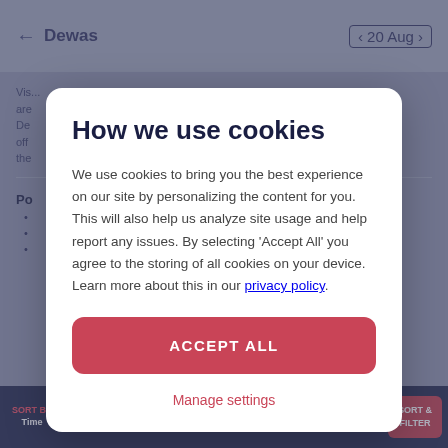[Figure (screenshot): Background of a travel/transport booking app showing Dewas route page with date 20 Aug, blurred behind a cookie consent modal. Bottom navigation bar shows Sort By Time, Cancellable, Evening 18:00-24:00, Morning 06:00-12:00, AC, and Sort & Filter controls.]
How we use cookies
We use cookies to bring you the best experience on our site by personalizing the content for you. This will also help us analyze site usage and help report any issues. By selecting 'Accept All' you agree to the storing of all cookies on your device. Learn more about this in our privacy policy.
ACCEPT ALL
Manage settings